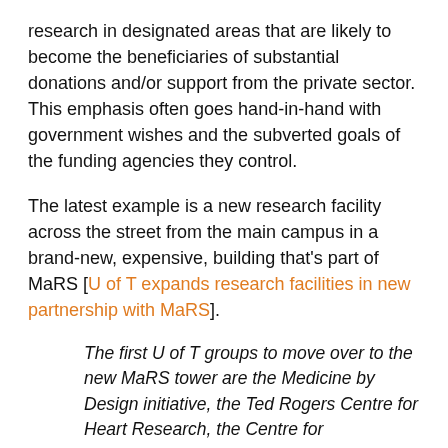research in designated areas that are likely to become the beneficiaries of substantial donations and/or support from the private sector. This emphasis often goes hand-in-hand with government wishes and the subverted goals of the funding agencies they control.
The latest example is a new research facility across the street from the main campus in a brand-new, expensive, building that's part of MaRS [U of T expands research facilities in new partnership with MaRS].
The first U of T groups to move over to the new MaRS tower are the Medicine by Design initiative, the Ted Rogers Centre for Heart Research, the Centre for Commercialization of Regenerative Medicine, and the ARCNet advanced research computing and data analytics centre. Other research groups from the Faculty of Medicine will move to MaRS to enhance existing networks in regenerative medicine, drug discovery and infectious disease.